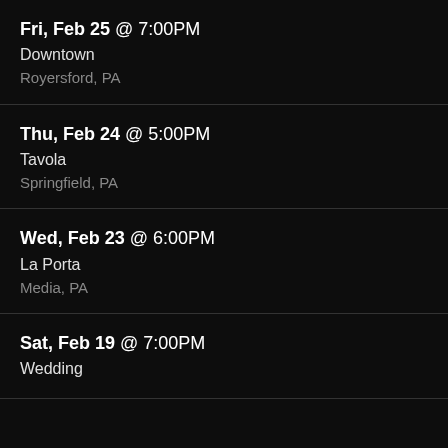Fri, Feb 25 @ 7:00PM
Downtown
Royersford, PA
Thu, Feb 24 @ 5:00PM
Tavola
Springfield, PA
Wed, Feb 23 @ 6:00PM
La Porta
Media, PA
Sat, Feb 19 @ 7:00PM
Wedding